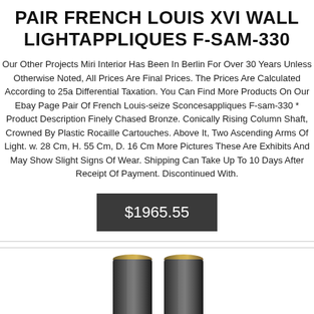PAIR FRENCH LOUIS XVI WALL LIGHTAPPLIQUES F-SAM-330
Our Other Projects Miri Interior Has Been In Berlin For Over 30 Years Unless Otherwise Noted, All Prices Are Final Prices. The Prices Are Calculated According to 25a Differential Taxation. You Can Find More Products On Our Ebay Page Pair Of French Louis-seize Sconcesappliques F-sam-330 * Product Description Finely Chased Bronze. Conically Rising Column Shaft, Crowned By Plastic Rocaille Cartouches. Above It, Two Ascending Arms Of Light. w. 28 Cm, H. 55 Cm, D. 16 Cm More Pictures These Are Exhibits And May Show Slight Signs Of Wear. Shipping Can Take Up To 10 Days After Receipt Of Payment. Discontinued With.
$1965.55
[Figure (photo): Photograph showing two dark bronze column-shaped wall light appliques side by side, partially visible at bottom of page]